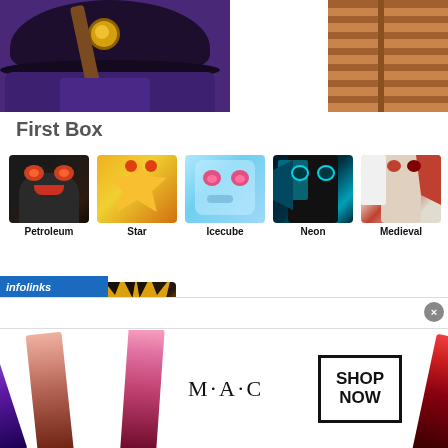[Figure (illustration): Top portion showing two game illustrations: left side shows a purple wizard/witch character with dark hat and gold clasp, right side shows a brown wooden box/crate.]
First Box
[Figure (illustration): Grid of dragon character icons row 1: Petroleum (dark black dragon), Star (gold/yellow dragon), Icecube (light blue ice dragon), Neon (black and blue dragon), Medieval (white and red dragon)]
Petroleum
Star
Icecube
Neon
Medieval
[Figure (illustration): Grid of dragon character icons row 2: Green bird dragon, Sunflower/fire dragon (partially visible)]
[Figure (advertisement): MAC cosmetics advertisement banner showing colorful lipsticks, M·A·C logo, and SHOP NOW button]